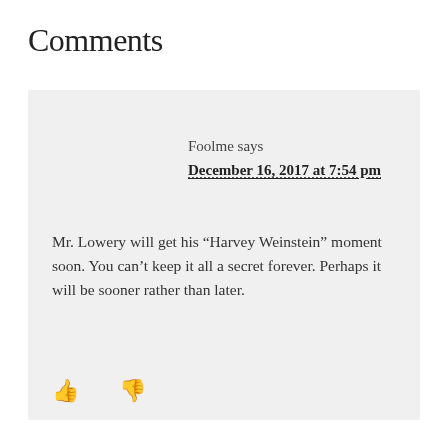Comments
Foolme says
December 16, 2017 at 7:54 pm
Mr. Lowery will get his “Harvey Weinstein” moment soon. You can’t keep it all a secret forever. Perhaps it will be sooner rather than later.
[Figure (other): Thumbs up and thumbs down icons for voting on comment]